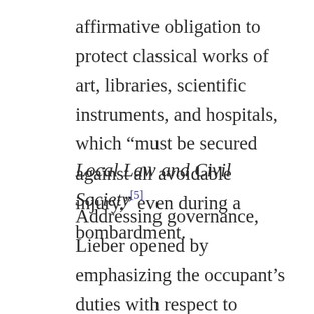affirmative obligation to protect classical works of art, libraries, scientific instruments, and hospitals, which “must be secured against all avoidable injury,” even during a bombardment.
Local Law and Civil Society[5]
Addressing governance, Lieber opened by emphasizing the occupant’s duties with respect to public order and safety, later captured in the Hague Conventions. He observed, “The United States acknowledge and protect … religion and morality; strictly private property; the persons of the